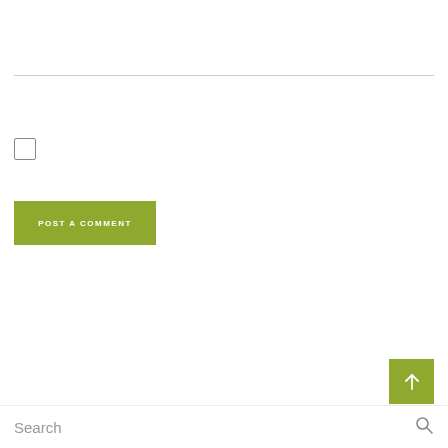[Figure (other): Horizontal divider line separating page sections]
[Figure (other): Unchecked checkbox UI element]
POST A COMMENT
[Figure (other): Scroll to top button with upward arrow icon, olive/green color]
Search